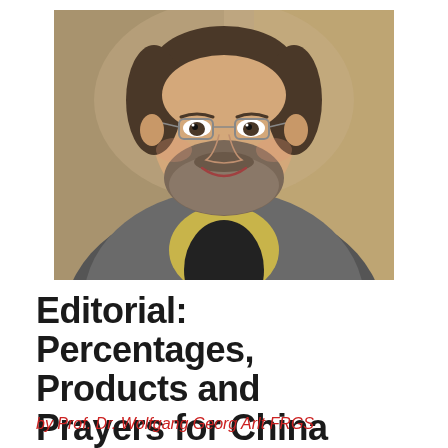[Figure (photo): Headshot of a middle-aged man with glasses, short beard, wearing a grey blazer over a dark shirt with a yellowish-green collar visible, smiling at the camera against a blurred background.]
Editorial: Percentages, Products and Prayers for China
by Prof. Dr. Wolfgang Georg Arlt FRGS